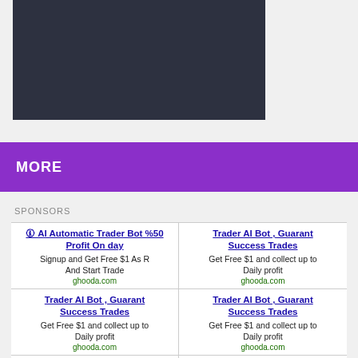[Figure (other): Dark rectangular box, appears to be a video or image placeholder with dark navy/charcoal background]
MORE
SPONSORS
🛈 AI Automatic Trader Bot %50 Profit On day
Signup and Get Free $1 As R
And Start Trade
ghooda.com
Trader AI Bot , Guarant Success Trades
Get Free $1 and collect up to Daily profit
ghooda.com
Trader AI Bot , Guarant Success Trades
Get Free $1 and collect up to Daily profit
ghooda.com
Trader AI Bot , Guarant Success Trades
Get Free $1 and collect up to Daily profit
ghooda.com
Trader AI Bot , Guarant Success Trades
Ads that respect your pri